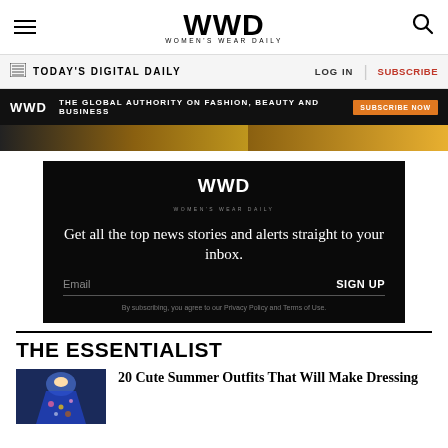WWD — WOMEN'S WEAR DAILY
TODAY'S DIGITAL DAILY   LOG IN   SUBSCRIBE
WWD — THE GLOBAL AUTHORITY ON FASHION, BEAUTY AND BUSINESS   SUBSCRIBE NOW
[Figure (photo): Partial image strip, woman in yellow/golden outfit]
[Figure (infographic): WWD newsletter signup box — black background, white WWD logo, text: Get all the top news stories and alerts straight to your inbox. Email field, SIGN UP button, privacy policy note.]
THE ESSENTIALIST
20 Cute Summer Outfits That Will Make Dressing
[Figure (photo): Small thumbnail of summer outfit, woman in blue floral dress]